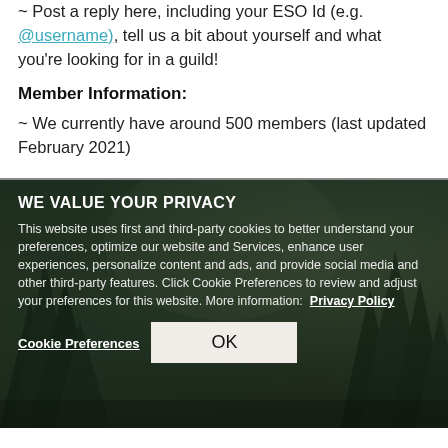~ Post a reply here, including your ESO Id (e.g. @username), tell us a bit about yourself and what you're looking for in a guild!
Member Information:
~ We currently have around 500 members (last updated February 2021)
WE VALUE YOUR PRIVACY
This website uses first and third-party cookies to better understand your preferences, optimize our website and Services, enhance user experiences, personalize content and ads, and provide social media and other third-party features. Click Cookie Preferences to review and adjust your preferences for this website. More information: Privacy Policy
Cookie Preferences
OK